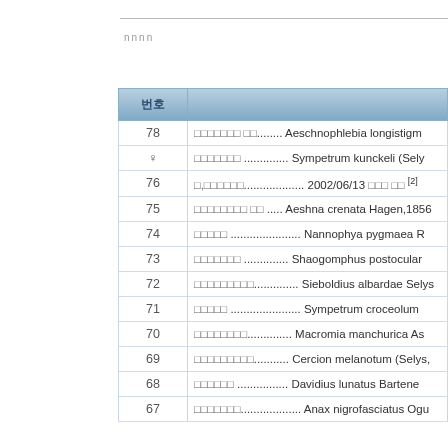nnnn
| 번호 |  |
| --- | --- |
| 78 | □□□□□□□ □□........ Aeschnophlebia longistigm |
| ♀ | □□□□□□□ .............. Sympetrum kunckeli (Sely |
| 76 | □,□□□□□□..................... 2002/06/13 □□□ □□  [2] |
| 75 | □□□□□□□□ □□ ..... Aeshna crenata Hagen,1856 |
| 74 | □□□□□ ...................... Nannophya pygmaea R |
| 73 | □□□□□□□ .............. Shaogomphus postocular |
| 72 | □□□□□□□□□................ Sieboldius albardae Selys |
| 71 | □□□□□ ...................... Sympetrum croceolum |
| 70 | □□□□□□□□................ Macromia manchurica As |
| 69 | □□□□□□□□□........... Cercion melanotum (Selys, |
| 68 | □□□□□□ ................ Davidius lunatus Bartene |
| 67 | □□□□□□□..................... Anax nigrofasciatus Ogu |